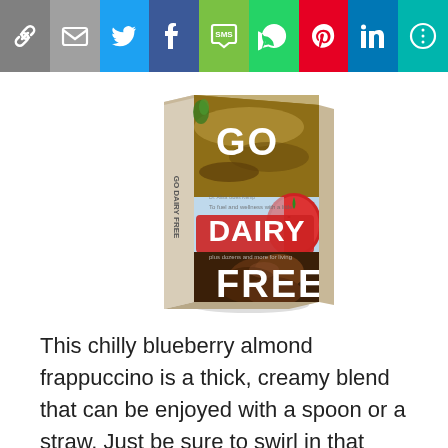[Figure (other): Social media share bar with icons: link, email, Twitter, Facebook, SMS, WhatsApp, Pinterest, LinkedIn, More]
[Figure (illustration): Book cover showing 'Go Dairy Free' with food photography sections including bread/nuts, strawberries, and chocolate ice cream]
This chilly blueberry almond frappuccino is a thick, creamy blend that can be enjoyed with a spoon or a straw. Just be sure to swirl in that blueberry jam for an extra flavor burst